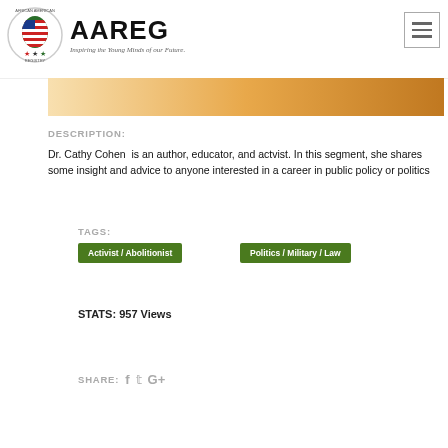[Figure (logo): African American Registry (AAREG) logo with circular emblem showing Africa continent with US flag colors, text AAREG in large bold letters, tagline: Inspiring the Young Minds of our Future.]
[Figure (photo): Partial hero image strip with warm golden/amber gradient background]
DESCRIPTION:
Dr. Cathy Cohen  is an author, educator, and actvist. In this segment, she shares some insight and advice to anyone interested in a career in public policy or politics
TAGS:
Activist / Abolitionist
Politics / Military / Law
STATS: 957 Views
SHARE: